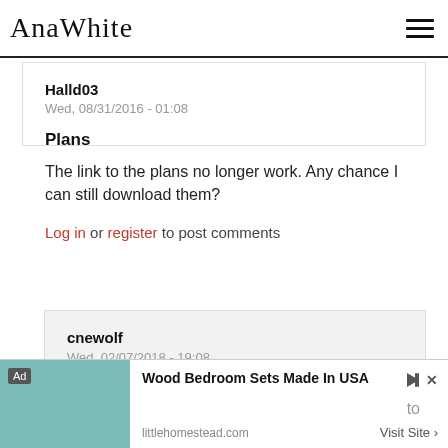AnaWhite
Halld03
Wed, 08/31/2016 - 01:08
Plans
The link to the plans no longer work. Any chance I can still download them?
Log in or register to post comments
cnewolf
Wed, 02/07/2018 - 19:08
[Figure (infographic): Advertisement banner: Wood Bedroom Sets Made In USA - littlehomestead.com - Visit Site]